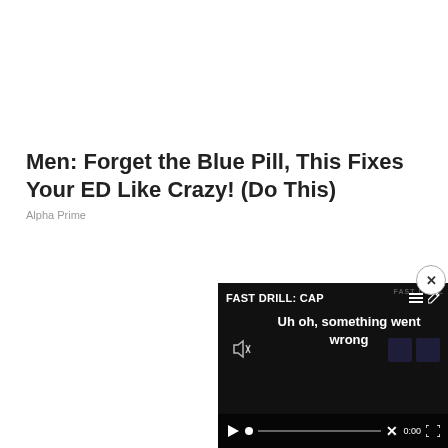Men: Forget the Blue Pill, This Fixes Your ED Like Crazy! (Do This)
Alpha Prime
[Figure (screenshot): Video player showing error message 'Uh oh, something went wrong' with title 'FAST DRILL: CAP' and playback controls at bottom. Close button (x) in top right corner of video overlay.]